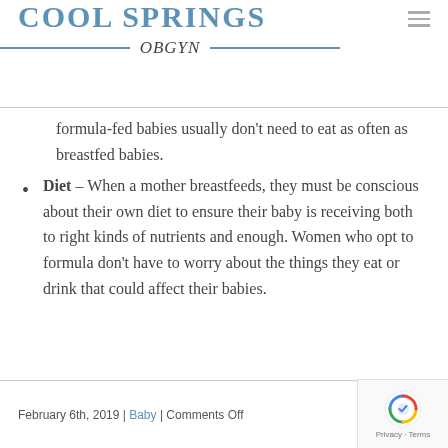Cool Springs OBGYN
formula-fed babies usually don't need to eat as often as breastfed babies.
Diet – When a mother breastfeeds, they must be conscious about their own diet to ensure their baby is receiving both to right kinds of nutrients and enough. Women who opt to formula don't have to worry about the things they eat or drink that could affect their babies.
February 6th, 2019 | Baby | Comments Off